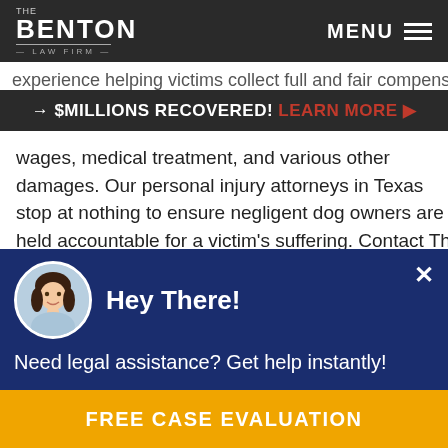The Benton Law Firm — MENU
experience helping victims collect full and fair compensation
→ $MILLIONS RECOVERED! LEARN MORE ▶
wages, medical treatment, and various other damages. Our personal injury attorneys in Texas stop at nothing to ensure negligent dog owners are held accountable for a victim's suffering. Contact The Benton Law Firm today at (214) 935-5311 to see how we can help you.
Note: The information included in this post was derived
[Figure (photo): Chat popup with woman avatar, dark navy background, Hey There! heading, Need legal assistance? Get help instantly! message]
FREE CASE EVALUATION